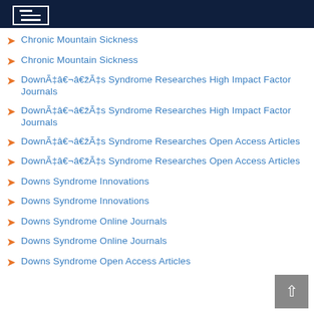Navigation menu header bar
Chronic Mountain Sickness
Chronic Mountain Sickness
DownÃ¢â‚¬â„¢s Syndrome Researches High Impact Factor Journals
DownÃ¢â‚¬â„¢s Syndrome Researches High Impact Factor Journals
DownÃ¢â‚¬â„¢s Syndrome Researches Open Access Articles
DownÃ¢â‚¬â„¢s Syndrome Researches Open Access Articles
Downs Syndrome Innovations
Downs Syndrome Innovations
Downs Syndrome Online Journals
Downs Syndrome Online Journals
Downs Syndrome Open Access Articles